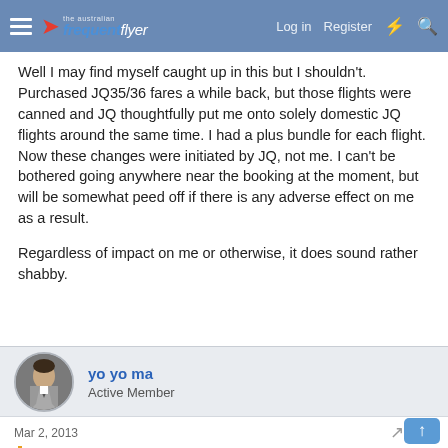The Australian Frequent Flyer — Log in | Register
Well I may find myself caught up in this but I shouldn't. Purchased JQ35/36 fares a while back, but those flights were canned and JQ thoughtfully put me onto solely domestic JQ flights around the same time. I had a plus bundle for each flight. Now these changes were initiated by JQ, not me. I can't be bothered going anywhere near the booking at the moment, but will be somewhat peed off if there is any adverse effect on me as a result.

Regardless of impact on me or otherwise, it does sound rather shabby.
yo yo ma
Active Member
Mar 2, 2013   #13
serly said